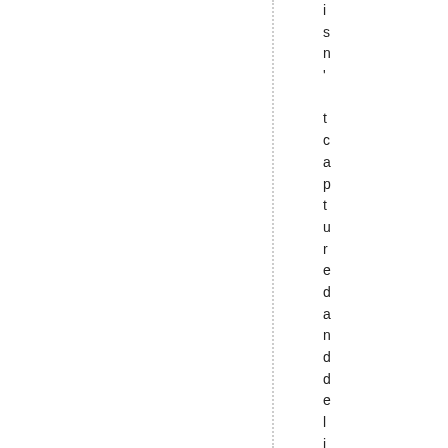isn't captured and delivered to eve